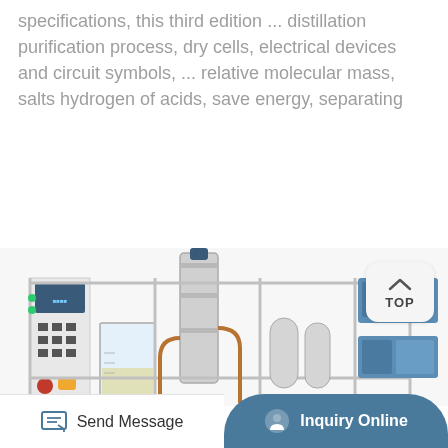specifications, this third edition ... distillation purification process, dry cells, electrical devices and circuit symbols, ... relative molecular mass, salts hydrogen of acids, save energy, separating
[Figure (other): Button labeled 'More Details' with orange rounded rectangle background]
[Figure (photo): Industrial distillation/purification equipment on a metal frame with glass vessels, stainless steel columns, copper pipes, control panel with buttons, and blue electronic units on the right]
[Figure (other): TOP navigation button with upward arrow icon in a rounded square]
Send Message
Inquiry Online